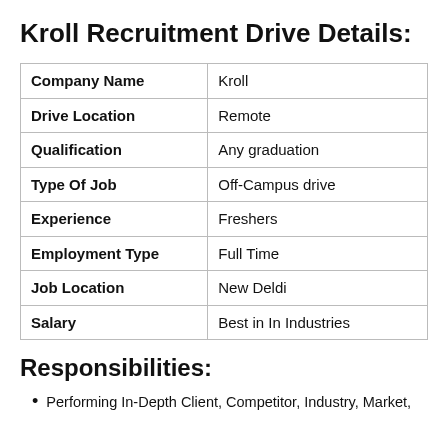Kroll Recruitment Drive Details:
| Company Name | Kroll |
| Drive Location | Remote |
| Qualification | Any graduation |
| Type Of Job | Off-Campus drive |
| Experience | Freshers |
| Employment Type | Full Time |
| Job Location | New Deldi |
| Salary | Best in In Industries |
Responsibilities:
Performing In-Depth Client, Competitor, Industry, Market,